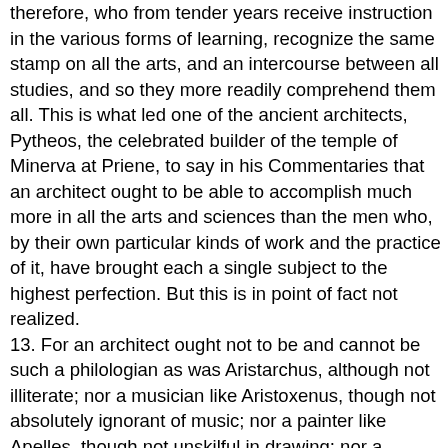therefore, who from tender years receive instruction in the various forms of learning, recognize the same stamp on all the arts, and an intercourse between all studies, and so they more readily comprehend them all. This is what led one of the ancient architects, Pytheos, the celebrated builder of the temple of Minerva at Priene, to say in his Commentaries that an architect ought to be able to accomplish much more in all the arts and sciences than the men who, by their own particular kinds of work and the practice of it, have brought each a single subject to the highest perfection. But this is in point of fact not realized.
13. For an architect ought not to be and cannot be such a philologian as was Aristarchus, although not illiterate; nor a musician like Aristoxenus, though not absolutely ignorant of music; nor a painter like Apelles, though not unskilful in drawing; nor a sculptor such as was Myron or Polyclitus, though not